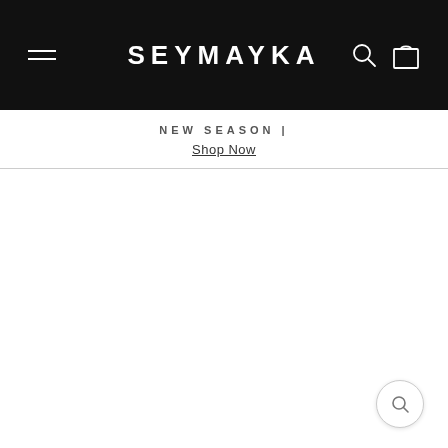SEYMAYKA
NEW SEASON | Shop Now
[Figure (screenshot): White blank main content area of a fashion e-commerce website (Seymayka), showing a nearly empty page body below the announcement bar.]